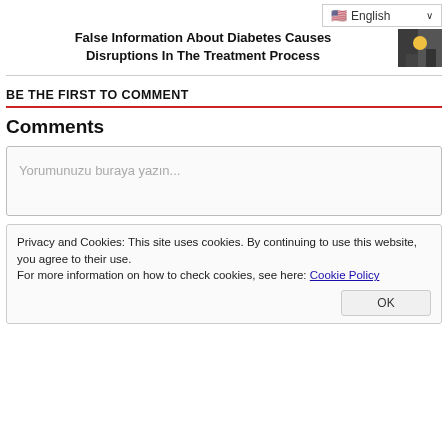False Information About Diabetes Causes Disruptions In The Treatment Process
BE THE FIRST TO COMMENT
Comments
Yorumunuzu buraya yazın...
Privacy and Cookies: This site uses cookies. By continuing to use this website, you agree to their use.
For more information on how to check cookies, see here: Cookie Policy
OK